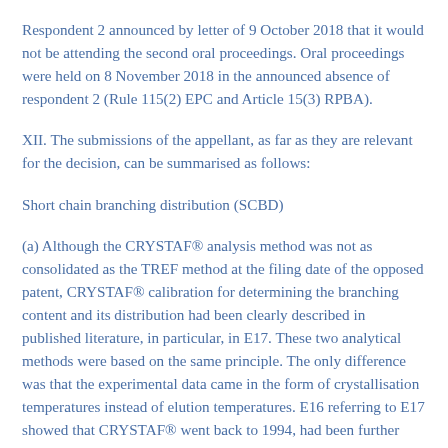Respondent 2 announced by letter of 9 October 2018 that it would not be attending the second oral proceedings. Oral proceedings were held on 8 November 2018 in the announced absence of respondent 2 (Rule 115(2) EPC and Article 15(3) RPBA).
XII. The submissions of the appellant, as far as they are relevant for the decision, can be summarised as follows:
Short chain branching distribution (SCBD)
(a) Although the CRYSTAF® analysis method was not as consolidated as the TREF method at the filing date of the opposed patent, CRYSTAF® calibration for determining the branching content and its distribution had been clearly described in published literature, in particular, in E17. These two analytical methods were based on the same principle. The only difference was that the experimental data came in the form of crystallisation temperatures instead of elution temperatures. E16 referring to E17 showed that CRYSTAF® went back to 1994, had been further developed since and had become one of